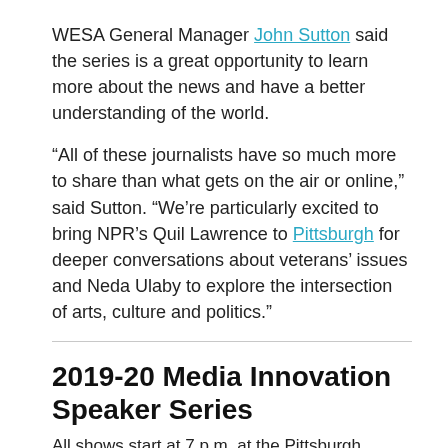WESA General Manager John Sutton said the series is a great opportunity to learn more about the news and have a better understanding of the world.
“All of these journalists have so much more to share than what gets on the air or online,” said Sutton. “We’re particularly excited to bring NPR’s Quil Lawrence to Pittsburgh for deeper conversations about veterans’ issues and Neda Ulaby to explore the intersection of arts, culture and politics.”
2019-20 Media Innovation Speaker Series
All shows start at 7 p.m. at the Pittsburgh Playhouse.
Molly Burke, Sept. 12, 2019